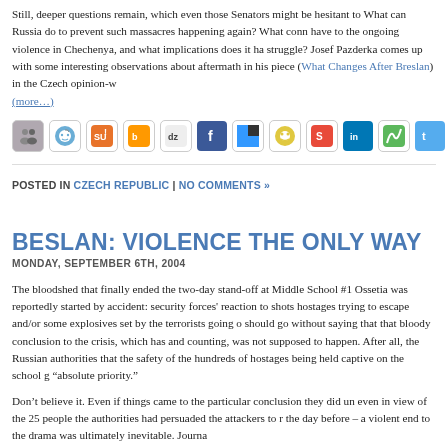Still, deeper questions remain, which even those Senators might be hesitant to answer. What can Russia do to prevent such massacres happening again? What connection does it have to the ongoing violence in Chechenya, and what implications does it have for that struggle? Josef Pazderka comes up with some interesting observations about the aftermath in his piece (What Changes After Breslan) in the Czech opinion-w... (more…)
[Figure (other): Row of social sharing icons: buddy icons, Reddit, StumbleUpon, Blinklist, Digg, Facebook, Delicious, Faves, Shoutwire, LinkedIn, MiXx, Twitter]
POSTED IN CZECH REPUBLIC | NO COMMENTS »
BESLAN: VIOLENCE THE ONLY WAY
MONDAY, SEPTEMBER 6TH, 2004
The bloodshed that finally ended the two-day stand-off at Middle School #1 in North Ossetia was reportedly started by accident: security forces' reaction to shots fired by hostages trying to escape and/or some explosives set by the terrorists going off. It should go without saying that that bloody conclusion to the crisis, which has left 335 and counting, was not supposed to happen. After all, the Russian authorities had declared that the safety of the hundreds of hostages being held captive on the school grounds an "absolute priority."
Don't believe it. Even if things came to the particular conclusion they did unfortunately, even in view of the 25 people the authorities had persuaded the attackers to release the day before – a violent end to the drama was ultimately inevitable. Journa...